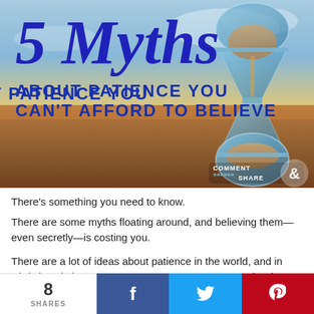[Figure (illustration): Hero image showing an hourglass against a sunset/sky background with the text '5 Myths About Patience You Can't Afford to Believe' overlaid in bold blue lettering, with a 'Comment & Share' badge in the bottom right corner.]
There's something you need to know.
There are some myths floating around, and believing them—even secretly—is costing you.
There are a lot of ideas about patience in the world, and in Christian circles—some are true, some are not. So, it's time to do
8 SHARES  [Facebook] [Twitter] [Pinterest]